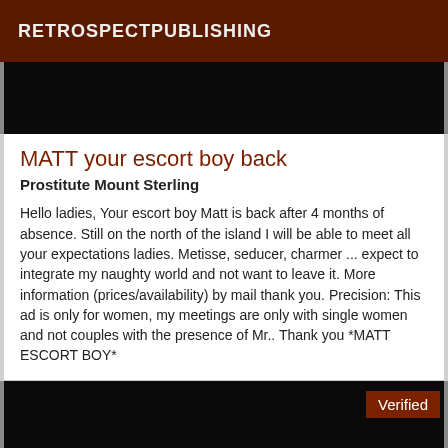RETROSPECTPUBLISHING
[Figure (photo): Dark/black image area at top]
MATT your escort boy back
Prostitute Mount Sterling
Hello ladies, Your escort boy Matt is back after 4 months of absence. Still on the north of the island I will be able to meet all your expectations ladies. Metisse, seducer, charmer ... expect to integrate my naughty world and not want to leave it. More information (prices/availability) by mail thank you. Precision: This ad is only for women, my meetings are only with single women and not couples with the presence of Mr.. Thank you *MATT ESCORT BOY*
[Figure (photo): Dark/black image area at bottom with Verified badge]